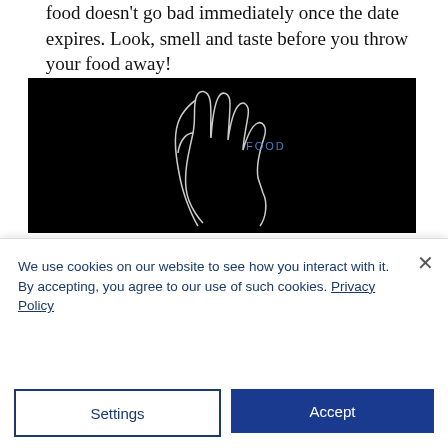food doesn't go bad immediately once the date expires. Look, smell and taste before you throw your food away!
Start composting or look into communal composting in your area.
Donate whatever you can't use or if you have an excess of food. Look into food banks in your area!
[Figure (screenshot): Black background image with a hand outline and the word FOOD in blue text]
We use cookies on our website to see how you interact with it. By accepting, you agree to our use of such cookies. Privacy Policy
Settings
Accept